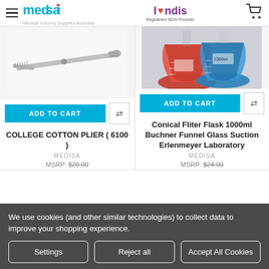medisa - Medical Industry Supplies Australia | I love ndis - Registered NDIS Provider
[Figure (photo): College Cotton Plier tool (6100) against white background]
ADD TO CART
COLLEGE COTTON PLIER ( 6100 )
MEDISA
MSRP: $20.00
[Figure (photo): Two Erlenmeyer conical flasks, one red and one blue, laboratory glassware]
ADD TO CART
Conical Fliter Flask 1000ml Buchner Funnel Glass Suction Erlenmeyer Laboratory
MEDISA
MSRP: $24.00
We use cookies (and other similar technologies) to collect data to improve your shopping experience.
Settings | Reject all | Accept All Cookies